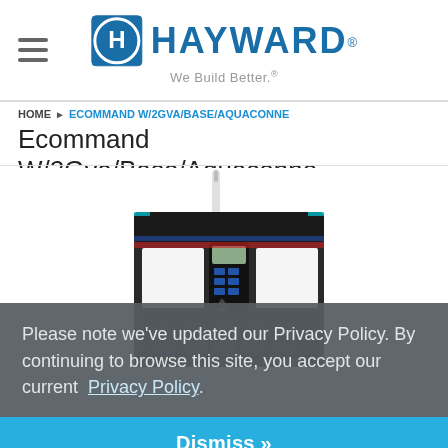Hayward — We Build Better.
HOME ▶ ECOMMAND W/2GVA/BASE/AQUACONNE
Ecommand W/2Gva/Base/Aquaconne
[Figure (photo): Hayward Ecommand pool automation controller with antenna, keypad, and display panel]
Please note we've updated our Privacy Policy. By continuing to browse this site, you accept our current Privacy Policy.
Dismiss »
Item #HPC4-ACT-AQC